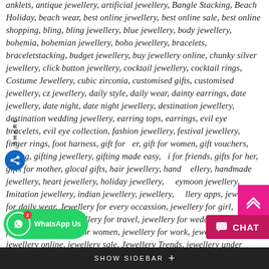anklets, antique jewellery, artificial jewellery, Bangle Stacking, Beach Holiday, beach wear, best online jewellery, best online sale, best online shopping, bling, bling jewellery, blue jewellery, body jewellery, bohemia, bohemian jewellery, boho jewellery, bracelets, braceletstacking, budget jewellery, buy jewellery online, chunky silver jewellery, click button jewellery, cocktail jewellery, cocktail rings, Costume Jewellery, cubic zirconia, customised gifts, customised jewellery, cz jewellery, daily style, daily wear, dainty earrings, date jewellery, date night, date night jewellery, destination jewellery, destination wedding jewellery, earring tops, earrings, evil eye bracelets, evil eye collection, fashion jewellery, festival jewellery, finger rings, foot harness, gift for er, gift for women, gift vouchers, gifting, gifting jewellery, gifting made easy, i for friends, gifts for her, gifts for mother, glocal gifts, hair jewellery, hand ellery, handmade jewellery, heart jewellery, holiday jewellery, eymoon jewellery, Imitation jewellery, indian jewellery, jewellery, llery apps, jewellery for daily wear, Jewellery for every occassion, jewellery for girl, jewellery for her, jewellery for travel, jewellery for weddings, jewellery for winter, jewellery for women, jewellery for work, jewellery gifts, jewellery online, jewellery sale, Jewellery Trends, jewellery under Rs.1500, nail jewellery, night out jewellery, office jewellery, office to party jewellery, one colour jewellery, online gifts, online tassel jewellery, pairing jewellery, p... lle... y, personalised gifts, personalised jewellery, r... tradition jewellery, tassel jewellery, two tone jewellery, valentines day, Valentines day jewellery, t... shop... affiliate...
[Figure (other): Share icon/sidebar on left side — vertical 'SHARE' text with blue circular share icon below]
[Figure (other): Scroll-to-top arrow button (pink/magenta double chevron up) on right side]
[Figure (other): WhatsApp button at bottom left — green rounded button with WhatsApp icon and 'WhatsApp Us' label]
[Figure (other): Chat button at bottom right — pink/magenta button with chat icon and 'CHAT' label]
SHOW SIDEBAR +